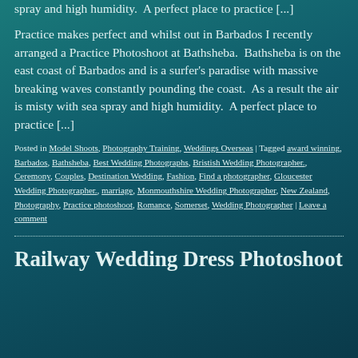spray and high humidity.  A perfect place to practice [...]
Practice makes perfect and whilst out in Barbados I recently arranged a Practice Photoshoot at Bathsheba.  Bathsheba is on the east coast of Barbados and is a surfer's paradise with massive breaking waves constantly pounding the coast.  As a result the air is misty with sea spray and high humidity.  A perfect place to practice [...]
Posted in Model Shoots, Photography Training, Weddings Overseas | Tagged award winning, Barbados, Bathsheba, Best Wedding Photographs, Bristish Wedding Photographer., Ceremony, Couples, Destination Wedding, Fashion, Find a photographer, Gloucester Wedding Photographer., marriage, Monmouthshire Wedding Photographer, New Zealand, Photography, Practice photoshoot, Romance, Somerset, Wedding Photographer | Leave a comment
Railway Wedding Dress Photoshoot